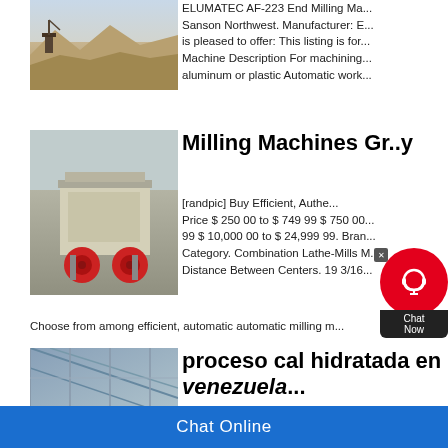[Figure (photo): Quarry or mining site with construction equipment and sandy terrain]
ELUMATEC AF-223 End Milling Ma... Sanson Northwest. Manufacturer: E... is pleased to offer: This listing is for... Machine Description For machining... aluminum or plastic Automatic work...
Milling Machines Gr...y
[Figure (photo): Industrial mobile crushing/milling machine with red wheels on a trailer]
[randpic] Buy Efficient, Authe... Price $ 250 00 to $ 749 99 $ 750 00... 99 $ 10,000 00 to $ 24,999 99. Bran... Category. Combination Lathe-Mills M... Distance Between Centers. 19 3/16...
Choose from among efficient, automatic automatic milling m...
[Figure (photo): Industrial building interior with metal framework/structure]
proceso cal hidratada en venezuela...